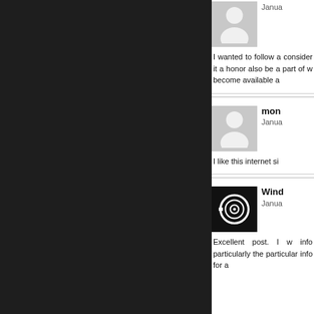[Figure (screenshot): Dark background left panel of a webpage comments section, partially visible]
I wanted to follow a consider it a honor also be a part of w become available a
[Figure (illustration): Gray default user avatar placeholder icon]
mon Janua
I like this internet si
[Figure (photo): Black background image with a camera lens/ring icon in white]
Wind Janua
Excellent post. I w info particularly the particular info for a